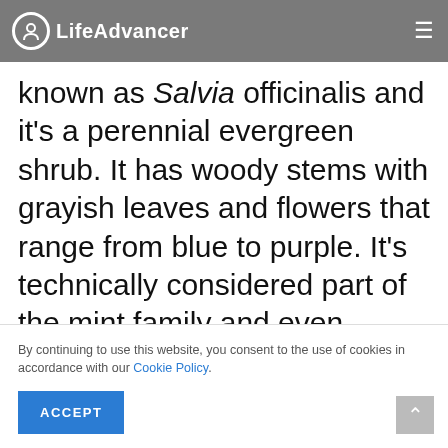LifeAdvancer
…known as Salvia officinalis and it's a perennial evergreen shrub. It has woody stems with grayish leaves and flowers that range from blue to purple. It's technically considered part of the mint family and even though it's native to the Mediterranean region they have grown it in many parts of the world.
flavor a big itish, ooking. e and
By continuing to use this website, you consent to the use of cookies in accordance with our Cookie Policy.
ACCEPT